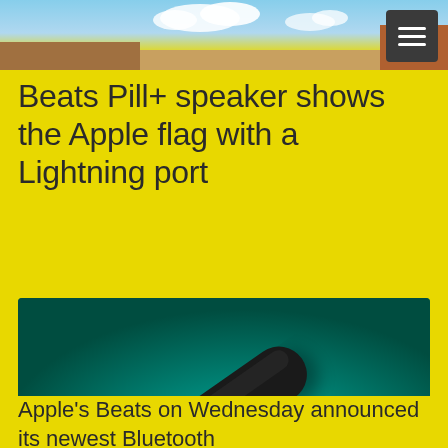[Figure (photo): Header photo showing outdoor desert/landscape scene with sky and clouds]
Beats Pill+ speaker shows the Apple flag with a Lightning port
[Figure (photo): Blurred product photo of Beats Pill+ speaker in black, shown against a teal/green blurred background]
Apple's Beats on Wednesday announced its newest Bluetooth